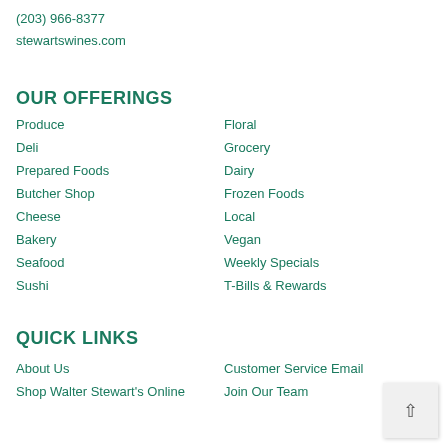(203) 966-8377
stewartswines.com
OUR OFFERINGS
Produce
Floral
Deli
Grocery
Prepared Foods
Dairy
Butcher Shop
Frozen Foods
Cheese
Local
Bakery
Vegan
Seafood
Weekly Specials
Sushi
T-Bills & Rewards
QUICK LINKS
About Us
Customer Service Email
Shop Walter Stewart's Online
Join Our Team